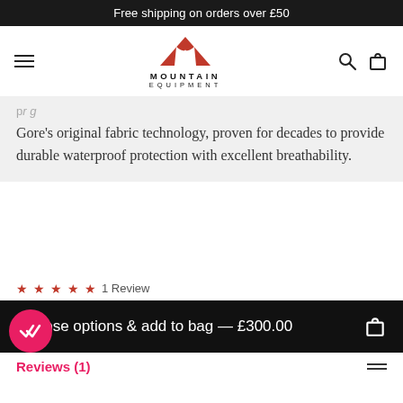Free shipping on orders over £50
[Figure (logo): Mountain Equipment logo with red mountain icon and text MOUNTAIN EQUIPMENT]
Gore's original fabric technology, proven for decades to provide durable waterproof protection with excellent breathability.
★★★★★  1 Review
Choose options & add to bag — £300.00
Reviews (1)